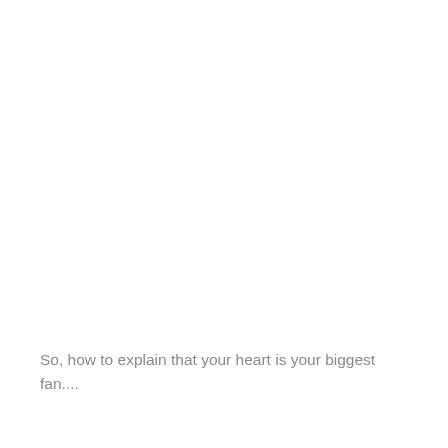So, how to explain that your heart is your biggest fan....